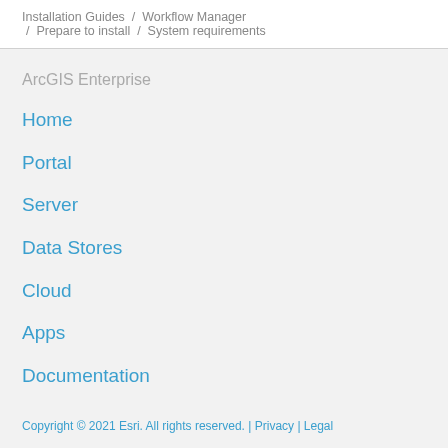Installation Guides / Workflow Manager / Prepare to install / System requirements
ArcGIS Enterprise
Home
Portal
Server
Data Stores
Cloud
Apps
Documentation
Copyright © 2021 Esri. All rights reserved. | Privacy | Legal